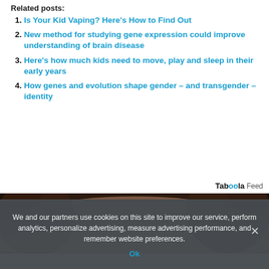Related posts:
Is Your Kid Vaping? Here's How to Find Out
New method for studying gene expression could improve understanding of brain disease
Here's how much kids need to move, play and sleep in their early years
How genes and evolution shape gender – and transgender – identity
Taboola Feed
[Figure (photo): Close-up top of a person's head with curly dark hair]
We and our partners use cookies on this site to improve our service, perform analytics, personalize advertising, measure advertising performance, and remember website preferences.
Ok